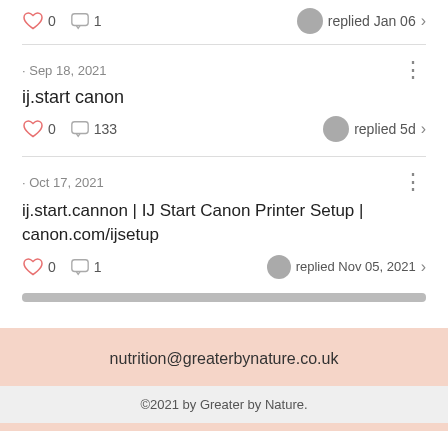[Figure (screenshot): Top post actions row: heart icon with 0 likes, comment icon with 1 comment, replied Jan 06 with chevron]
· Sep 18, 2021
ij.start canon
0 likes, 133 comments, replied 5d
· Oct 17, 2021
ij.start.cannon | IJ Start Canon Printer Setup | canon.com/ijsetup
0 likes, 1 comment, replied Nov 05, 2021
nutrition@greaterbynature.co.uk
©2021 by Greater by Nature.